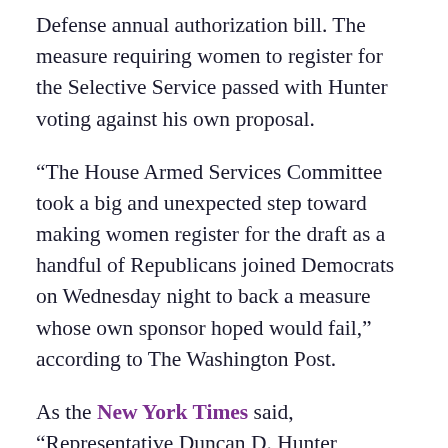Defense annual authorization bill. The measure requiring women to register for the Selective Service passed with Hunter voting against his own proposal.
“The House Armed Services Committee took a big and unexpected step toward making women register for the draft as a handful of Republicans joined Democrats on Wednesday night to back a measure whose own sponsor hoped would fail,” according to The Washington Post.
As the New York Times said, “Representative Duncan D. Hunter, Republican of California, introduced the initial amendment to expand the draft to women in April 2016, but voted against it. Mr. Hunter introduced it to ‘force the conversation’ in Congress about the administration’s new policy, said his chief of staff, Joe Kasper.”